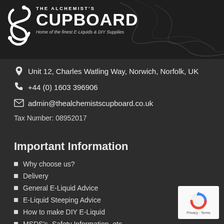[Figure (logo): The Alchemists Cupboard logo — stylized snake icon with bold white text 'CUPBOARD' and tagline 'Home of the finest E-Liquids & DIY Supplies' on dark background]
📍 Unit 12, Charles Watling Way, Norwich, Norfolk, UK
📞 +44 (0) 1603 396906
✉ admin@thealchemistscupboard.co.uk
Tax Number: 08952017
Important Information
Why choose us?
Delivery
General E-Liquid Advice
E-Liquid Steeping Advice
How to make DIY E-Liquid
MSDS's, Safety Information, etc.
Our Production Facilities Video
Our Clean Room Laboratory
[Figure (logo): Google reCAPTCHA badge with blue/red arrow icon and 'Privacy · Terms' text on white background]